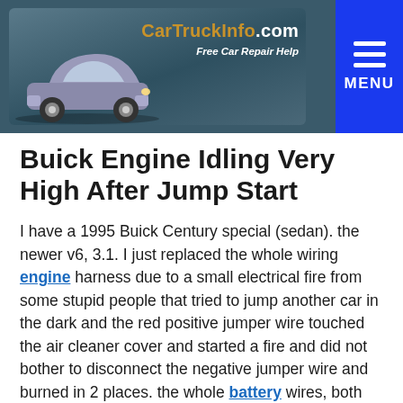CarTruckInfo.com — Free Car Repair Help
Buick Engine Idling Very High After Jump Start
I have a 1995 Buick Century special (sedan). the newer v6, 3.1. I just replaced the whole wiring engine harness due to a small electrical fire from some stupid people that tried to jump another car in the dark and the red positive jumper wire touched the air cleaner cover and started a fire and did not bother to disconnect the negative jumper wire and burned in 2 places. the whole battery wires, both red and black and around that area and other the other side near the relay switches. Now,